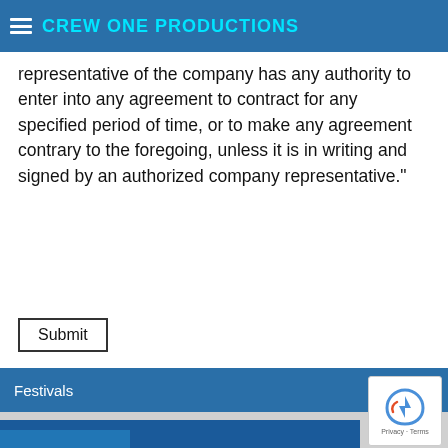CREW ONE PRODUCTIONS
any damage that may result from utilization of such information. I also understand and agree that no representative of the company has any authority to enter into any agreement to contract for any specified period of time, or to make any agreement contrary to the foregoing, unless it is in writing and signed by an authorized company representative."
Submit
Festivals +